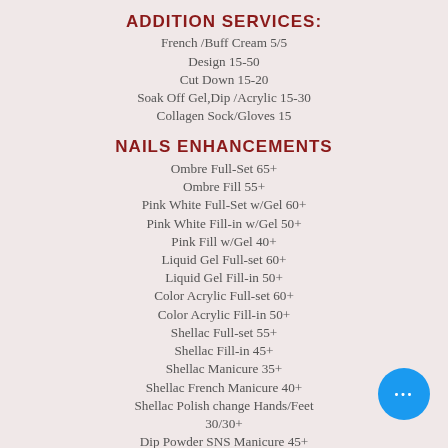ADDITION SERVICES:
French /Buff Cream 5/5
Design 15-50
Cut Down 15-20
Soak Off Gel,Dip /Acrylic 15-30
Collagen Sock/Gloves 15
NAILS ENHANCEMENTS
Ombre Full-Set 65+
Ombre Fill 55+
Pink White Full-Set w/Gel 60+
Pink White Fill-in w/Gel 50+
Pink Fill w/Gel 40+
Liquid Gel Full-set 60+
Liquid Gel Fill-in 50+
Color Acrylic Full-set 60+
Color Acrylic Fill-in 50+
Shellac Full-set 55+
Shellac Fill-in 45+
Shellac Manicure 35+
Shellac French Manicure 40+
Shellac Polish change Hands/Feet 30/30+
Dip Powder SNS Manicure 45+
Dip Powder SNS Fullset 55+
Dip Powder SNS Fill-in 50+